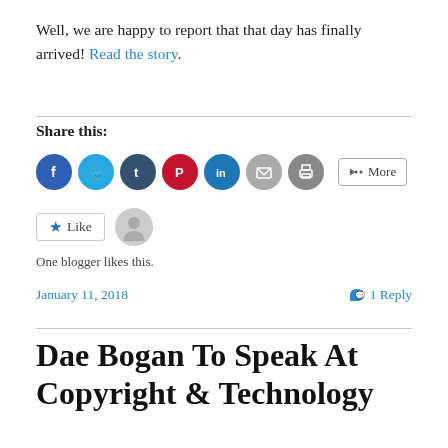Well, we are happy to report that that day has finally arrived! Read the story.
Share this:
[Figure (other): Social share buttons: Facebook, Twitter, Tumblr, Pinterest, LinkedIn, Email, Print, More]
[Figure (other): Like button with star icon and avatar placeholder. One blogger likes this.]
One blogger likes this.
January 11, 2018
1 Reply
Dae Bogan To Speak At Copyright & Technology